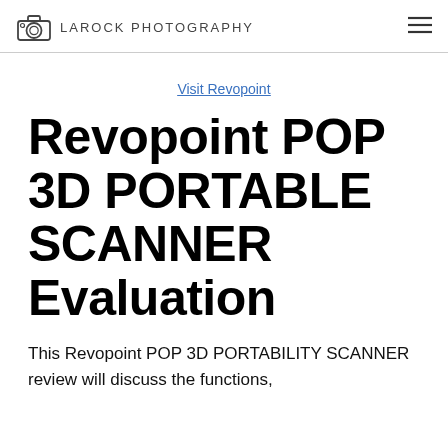LAROCK PHOTOGRAPHY
Visit Revopoint
Revopoint POP 3D PORTABLE SCANNER Evaluation
This Revopoint POP 3D PORTABILITY SCANNER review will discuss the functions,